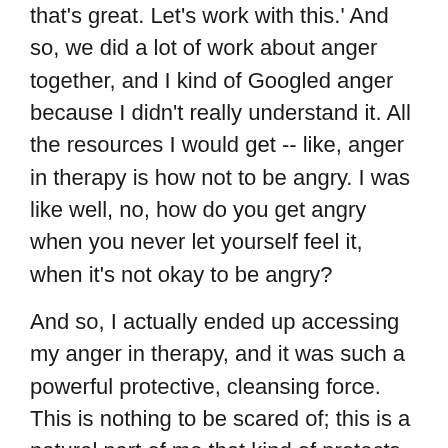that's great. Let's work with this.' And so, we did a lot of work about anger together, and I kind of Googled anger because I didn't really understand it. All the resources I would get -- like, anger in therapy is how not to be angry. I was like well, no, how do you get angry when you never let yourself feel it, when it's not okay to be angry?
And so, I actually ended up accessing my anger in therapy, and it was such a powerful protective, cleansing force. This is nothing to be scared of; this is a natural part of me that kind of protects me from